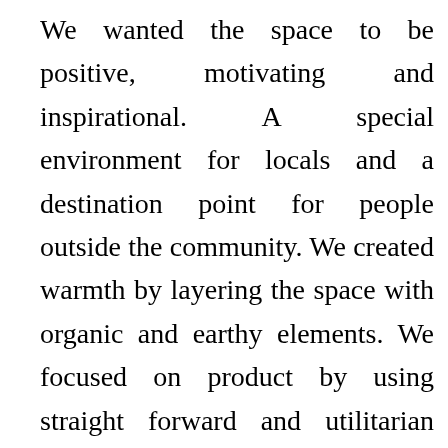We wanted the space to be positive, motivating and inspirational. A special environment for locals and a destination point for people outside the community. We created warmth by layering the space with organic and earthy elements. We focused on product by using straight forward and utilitarian elements. This was accomplished by taking simple materials such as rope, plumbing pipe and refurbished wood planks and reconfiguring them in new and creative ways. The resulting design was a very cool mix of contemporary and traditional. Hard materials such as concrete and steel where softened when